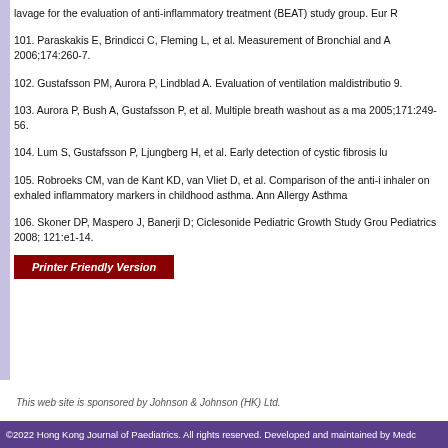lavage for the evaluation of anti-inflammatory treatment (BEAT) study group. Eur ...
101. Paraskakis E, Brindicci C, Fleming L, et al. Measurement of Bronchial and A... 2006;174:260-7.
102. Gustafsson PM, Aurora P, Lindblad A. Evaluation of ventilation maldistributio... 9.
103. Aurora P, Bush A, Gustafsson P, et al. Multiple breath washout as a ma... 2005;171:249-56.
104. Lum S, Gustafsson P, Ljungberg H, et al. Early detection of cystic fibrosis lu...
105. Robroeks CM, van de Kant KD, van Vliet D, et al. Comparison of the anti-i... inhaler on exhaled inflammatory markers in childhood asthma. Ann Allergy Asthma...
106. Skoner DP, Maspero J, Banerji D; Ciclesonide Pediatric Growth Study Grou... Pediatrics 2008; 121:e1-14.
Printer Friendly Version
This web site is sponsored by Johnson & Johnson (HK) Ltd.
©2022 Hong Kong Journal of Paediatrics. All rights reserved. Developed and maintained by Medc...